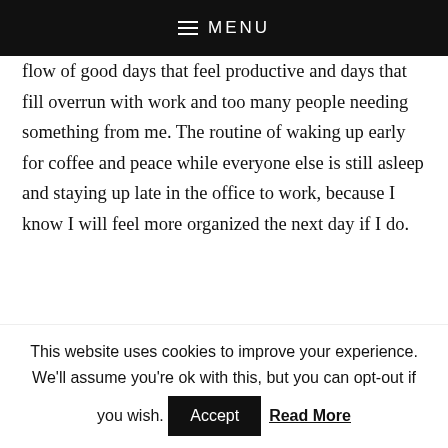☰ MENU
flow of good days that feel productive and days that fill overrun with work and too many people needing something from me. The routine of waking up early for coffee and peace while everyone else is still asleep and staying up late in the office to work, because I know I will feel more organized the next day if I do.
[Figure (photo): Interior room photo showing a white door with panels, a decorative tree wall hanging, and dark wood furniture. The wall is light beige/cream colored.]
This website uses cookies to improve your experience. We'll assume you're ok with this, but you can opt-out if you wish. Accept Read More